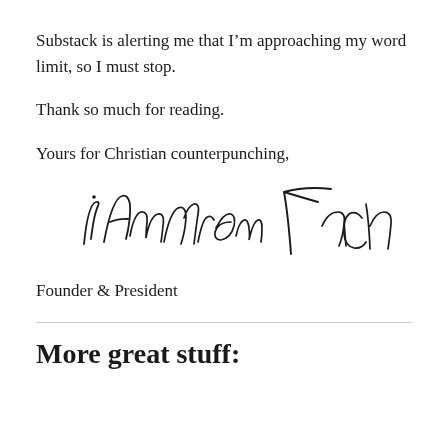Substack is alerting me that I'm approaching my word limit, so I must stop.
Thank so much for reading.
Yours for Christian counterpunching,
[Figure (illustration): Handwritten signature reading approximately 'T. Andrew Fach' or similar cursive signature]
Founder & President
More great stuff: